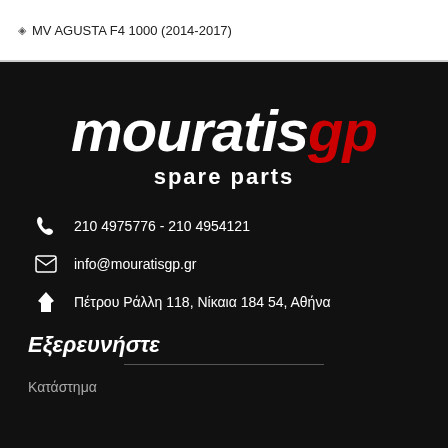MV AGUSTA F4 1000 (2014-2017)
[Figure (logo): mouratisgp spare parts logo — white bold italic text 'mouratis' with red bold italic 'gp', and white bold 'spare parts' below, on black background]
210 4975776 - 210 4954121
info@mouratisgp.gr
Πέτρου Ράλλη 118, Νίκαια 184 54, Αθήνα
Εξερευνήστε
Κατάστημα